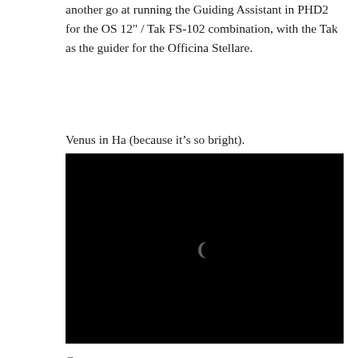another go at running the Guiding Assistant in PHD2 for the OS 12" / Tak FS-102 combination, with the Tak as the guider for the Officina Stellare.
Venus in Ha (because it’s so bright).
[Figure (photo): Nearly black astronomical image showing Venus as a small crescent shape, faintly visible near the center-left of the frame against a black background.]
Crop